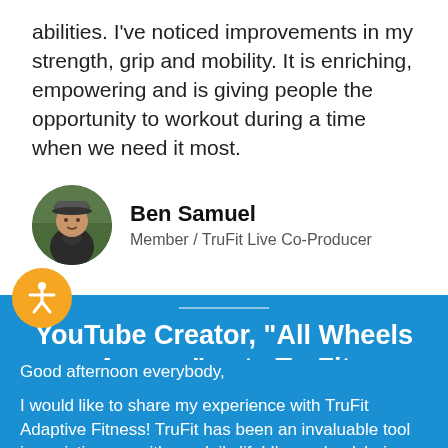abilities. I've noticed improvements in my strength, grip and mobility. It is enriching, empowering and is giving people the opportunity to workout during a time when we need it most.
Ben Samuel
Member / TruFit Live Co-Producer
[Figure (photo): Circular avatar photo of Ben Samuel wearing a winter hat and jacket outdoors]
[Figure (logo): Orange circular accessibility icon with white human figure with outstretched arms]
YouTube Creator, “All Wheels Access” gets TruFit
Good afternoon everybody,
I would like to share my experience with TruFit Adaptive Fitness! TruFit has been an invaluable tool in assisting me with my daily life! I'm a wheelchair user and it is